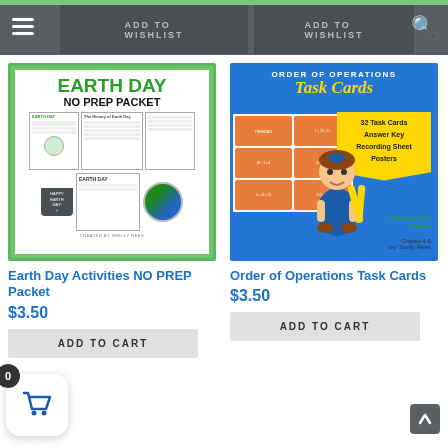ADD TO WISHLIST   ADD TO WISHLIST
[Figure (screenshot): Earth Day Activities NO PREP Packet product thumbnail showing worksheets with Earth Day theme, green diamond border]
[Figure (screenshot): Order of Operations Task Cards product thumbnail showing blue and yellow design with cartoon girl, 32 Task Cards, Answer Key, Recording Sheet, Posters, Common Core Aligned, Grades 4-6 by Shelly Rees]
Earth Day Activities NO PREP Packet
Order of Operations Task Cards
$3.50
$3.50
ADD TO CART
ADD TO CART